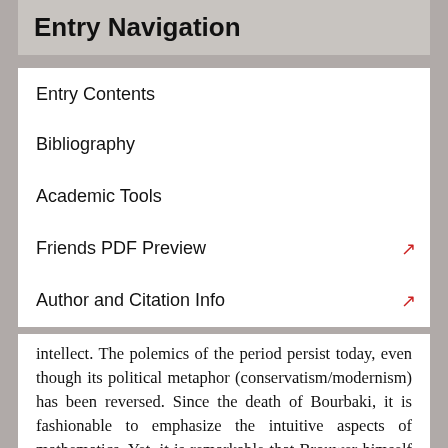Entry Navigation
Entry Contents
Bibliography
Academic Tools
Friends PDF Preview
Author and Citation Info
intellect. The polemics of the period persist today, even though its political metaphor (conservatism/modernism) has been reversed. Since the death of Bourbaki, it is fashionable to emphasize the intuitive aspects of mathematics. Yet, it is remarkable that Brouwer himself criticizes Poincaré's conflation of "the language of mathematics [and] the true mathematical construction" (Brouwer 1907: 176). And Brouwer is quite right to emphasize that Poincaré does not separate language and mathematics. Poincaré ascribes to language—but not to logic—an essential role in mathematical reasoning. In this